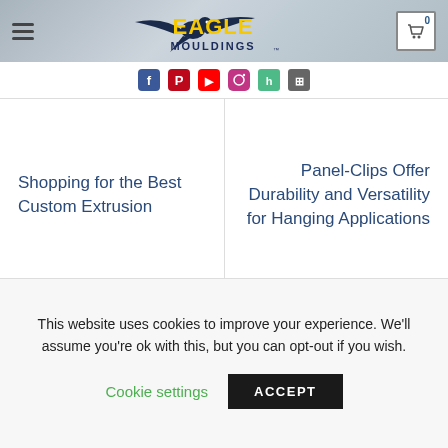Eagle Mouldings — navigation header with logo, hamburger menu, and cart icon
[Figure (logo): Eagle Mouldings logo: eagle graphic with yellow 'EAGLE' text and dark blue 'MOULDINGS' text below]
[Figure (infographic): Social media icons row: Facebook, Pinterest, YouTube, Instagram, Houzz, and one more icon]
Shopping for the Best Custom Extrusion
Panel-Clips Offer Durability and Versatility for Hanging Applications
LATEST POSTS
This website uses cookies to improve your experience. We'll assume you're ok with this, but you can opt-out if you wish.
Cookie settings   ACCEPT